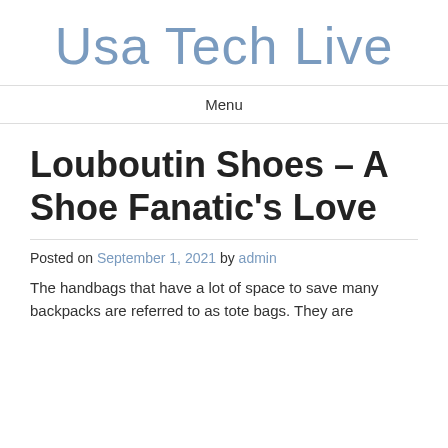Usa Tech Live
Menu
Louboutin Shoes – A Shoe Fanatic's Love
Posted on September 1, 2021 by admin
The handbags that have a lot of space to save many backpacks are referred to as tote bags. They are